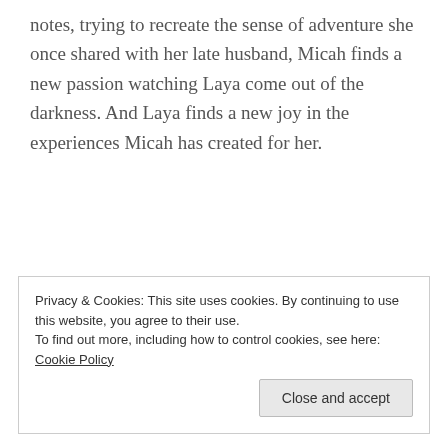notes, trying to recreate the sense of adventure she once shared with her late husband, Micah finds a new passion watching Laya come out of the darkness. And Laya finds a new joy in the experiences Micah has created for her.
Privacy & Cookies: This site uses cookies. By continuing to use this website, you agree to their use. To find out more, including how to control cookies, see here: Cookie Policy
Close and accept